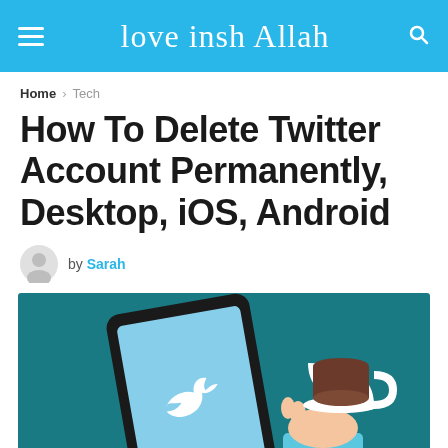love insh Allah
Home > Tech
How To Delete Twitter Account Permanently, Desktop, iOS, Android
by Sarah
[Figure (illustration): Illustration of a smartphone showing the Twitter bird logo on its screen, next to a hand holding a cup of coffee, on a teal background.]